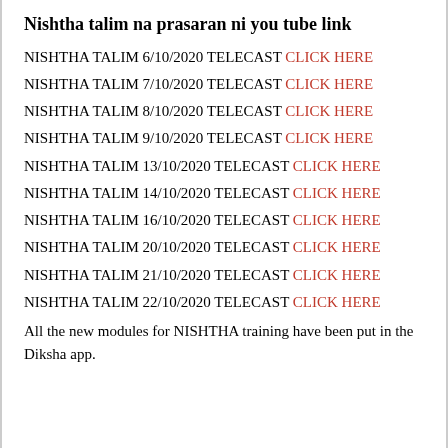Nishtha talim na prasaran ni you tube link
NISHTHA TALIM 6/10/2020 TELECAST CLICK HERE
NISHTHA TALIM 7/10/2020 TELECAST CLICK HERE
NISHTHA TALIM 8/10/2020 TELECAST CLICK HERE
NISHTHA TALIM 9/10/2020 TELECAST CLICK HERE
NISHTHA TALIM 13/10/2020 TELECAST CLICK HERE
NISHTHA TALIM 14/10/2020 TELECAST CLICK HERE
NISHTHA TALIM 16/10/2020 TELECAST CLICK HERE
NISHTHA TALIM 20/10/2020 TELECAST CLICK HERE
NISHTHA TALIM 21/10/2020 TELECAST CLICK HERE
NISHTHA TALIM 22/10/2020 TELECAST CLICK HERE
All the new modules for NISHTHA training have been put in the Diksha app.